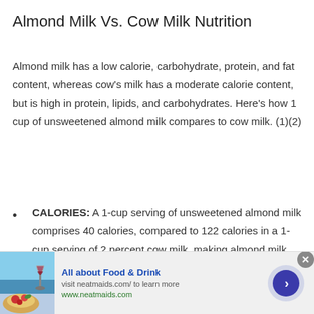Almond Milk Vs. Cow Milk Nutrition
Almond milk has a low calorie, carbohydrate, protein, and fat content, whereas cow’s milk has a moderate calorie content, but is high in protein, lipids, and carbohydrates. Here’s how 1 cup of unsweetened almond milk compares to cow milk. (1)(2)
CALORIES: A 1-cup serving of unsweetened almond milk comprises 40 calories, compared to 122 calories in a 1-cup serving of 2 percent cow milk, making almond milk the lower-calorie option.
[Figure (other): Advertisement banner: All about Food & Drink, visit neatmaids.com/ to learn more, www.neatmaids.com, with food/drink image on left and arrow button on right]